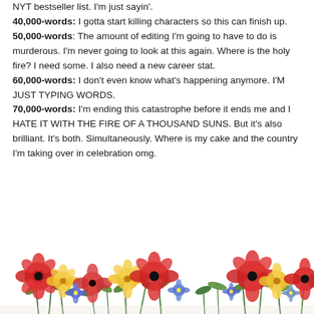NYT bestseller list. I'm just sayin'. 40,000-words: I gotta start killing characters so this can finish up. 50,000-words: The amount of editing I'm going to have to do is murderous. I'm never going to look at this again. Where is the holy fire? I need some. I also need a new career stat. 60,000-words: I don't even know what's happening anymore. I'M JUST TYPING WORDS. 70,000-words: I'm ending this catastrophe before it ends me and I HATE IT WITH THE FIRE OF A THOUSAND SUNS. But it's also brilliant. It's both. Simultaneously. Where is my cake and the country I'm taking over in celebration omg.
[Figure (illustration): A decorative horizontal banner of colorful watercolor flowers including red poppies, yellow roses, blue flowers, and green foliage along the bottom of the page.]